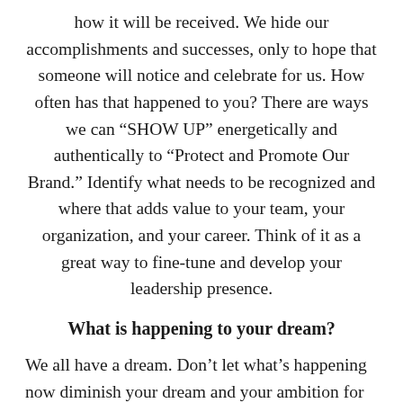how it will be received. We hide our accomplishments and successes, only to hope that someone will notice and celebrate for us. How often has that happened to you? There are ways we can “SHOW UP” energetically and authentically to “Protect and Promote Our Brand.” Identify what needs to be recognized and where that adds value to your team, your organization, and your career. Think of it as a great way to fine-tune and develop your leadership presence.
What is happening to your dream?
We all have a dream. Don’t let what’s happening now diminish your dream and your ambition for whatever it is. Whether it’s a book you’ve meant